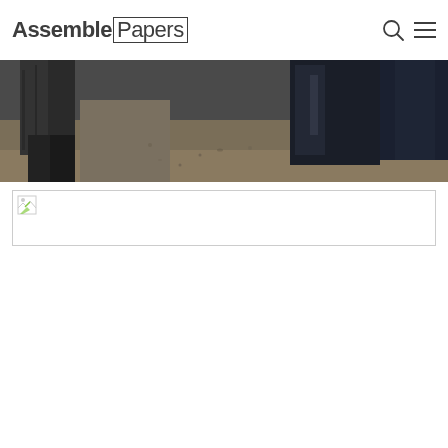Assemble Papers
[Figure (photo): Partial bottom portion of an outdoor photo showing people's legs/lower bodies in dark clothing, standing on a dirt/gravel ground]
[Figure (photo): Second image that failed to load, shown as a broken image placeholder]